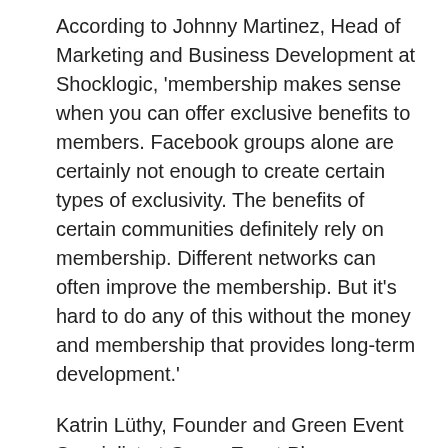According to Johnny Martinez, Head of Marketing and Business Development at Shocklogic, 'membership makes sense when you can offer exclusive benefits to members. Facebook groups alone are certainly not enough to create certain types of exclusivity. The benefits of certain communities definitely rely on membership. Different networks can often improve the membership. But it's hard to do any of this without the money and membership that provides long-term development.'
Katrin Lüthy, Founder and Green Event Specialist at Green Event Planner, thinks that 'social media is indeed a fantastic place to get attention, but I believe that the actual business mostly comes from face-to-face meetings or networking events.' Irina thinks that 'communities can't rely on membership only—there are too many of such groups, and each person belongs to